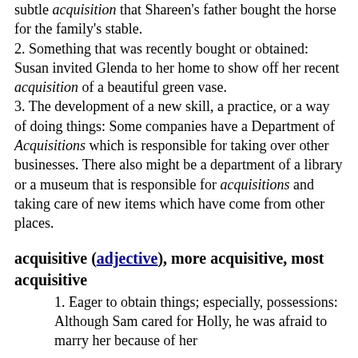subtle acquisition that Shareen's father bought the horse for the family's stable. 2. Something that was recently bought or obtained: Susan invited Glenda to her home to show off her recent acquisition of a beautiful green vase. 3. The development of a new skill, a practice, or a way of doing things: Some companies have a Department of Acquisitions which is responsible for taking over other businesses. There also might be a department of a library or a museum that is responsible for acquisitions and taking care of new items which have come from other places.
acquisitive (adjective), more acquisitive, most acquisitive
1. Eager to obtain things; especially, possessions: Although Sam cared for Holly, he was afraid to marry her because of her